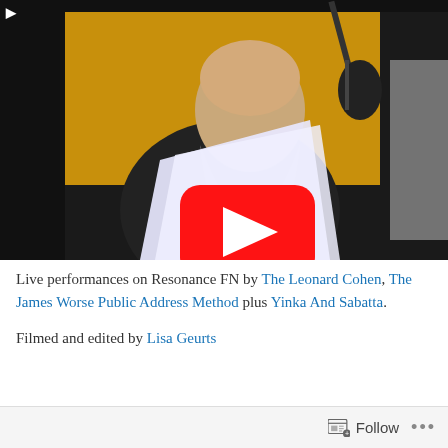[Figure (screenshot): YouTube video thumbnail showing a bearded man reading papers near a microphone in a room with a yellow/orange wall. A red YouTube play button is overlaid in the center.]
Live performances on Resonance FN by The Leonard Cohen, The James Worse Public Address Method plus Yinka And Sabatta.
Filmed and edited by Lisa Geurts
Follow ...